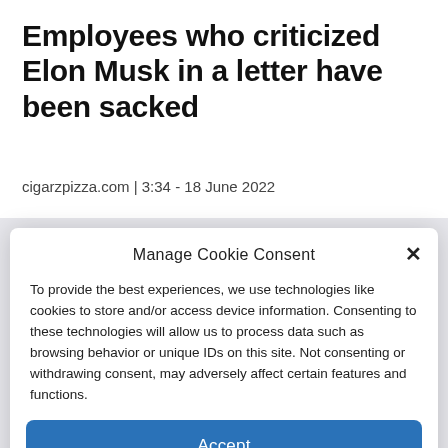Employees who criticized Elon Musk in a letter have been sacked
cigarzpizza.com | 3:34 - 18 June 2022
Manage Cookie Consent
To provide the best experiences, we use technologies like cookies to store and/or access device information. Consenting to these technologies will allow us to process data such as browsing behavior or unique IDs on this site. Not consenting or withdrawing consent, may adversely affect certain features and functions.
Accept
Cookie Policy